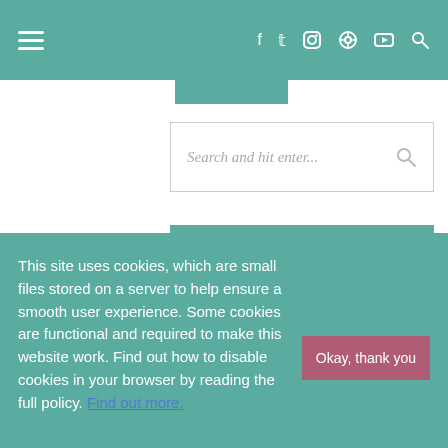≡ f 𝕥 ⊕ ⭮ ▶ 🔍
[Figure (screenshot): Search input field with placeholder text 'Search and hit enter...' and a search icon on the right]
ARCHIVES
[Figure (screenshot): Dropdown select element with 'Select Month' placeholder and a chevron icon]
This site uses cookies, which are small files stored on a server to help ensure a smooth user experience. Some cookies are functional and required to make this website work. Find out how to disable cookies in your browser by reading the full policy. Find out more.